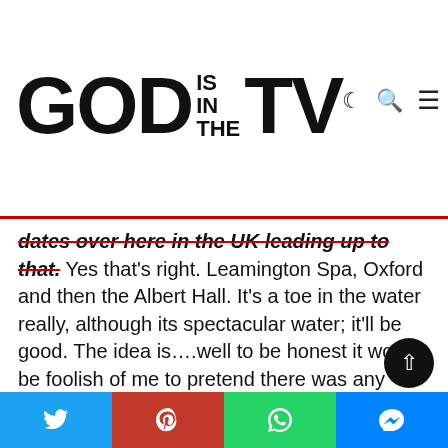GOD IS IN THE TV
dates over here in the UK leading up to that. Yes that's right. Leamington Spa, Oxford and then the Albert Hall. It's a toe in the water really, although its spectacular water; it'll be good. The idea is….well to be honest it would be foolish of me to pretend there was any great idea. We're doing the Albert Hall because we can. It's a blast. So let's talk about Arkeology? Yes. That whole box set idea had been talked about. It had raised its ugly head and I just thought I don't want to do that. It's like with Biograph, the problem is where do you put the box? I mean I know where to file music… I was thinking artwork and a bo… and I really was ready to say no. And then I was at home